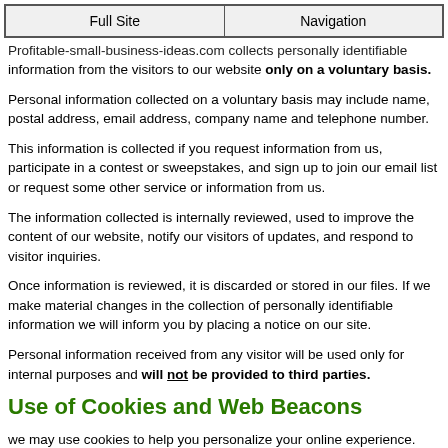Full Site | Navigation
Profitable-small-business-ideas.com collects personally identifiable information from the visitors to our website only on a voluntary basis.
Personal information collected on a voluntary basis may include name, postal address, email address, company name and telephone number.
This information is collected if you request information from us, participate in a contest or sweepstakes, and sign up to join our email list or request some other service or information from us.
The information collected is internally reviewed, used to improve the content of our website, notify our visitors of updates, and respond to visitor inquiries.
Once information is reviewed, it is discarded or stored in our files. If we make material changes in the collection of personally identifiable information we will inform you by placing a notice on our site.
Personal information received from any visitor will be used only for internal purposes and will not be provided to third parties.
Use of Cookies and Web Beacons
we may use cookies to help you personalize your online experience. Cookies are identifiers that are transferred to your computer's hard drive through your web browser to enable our systems to recognize your browser.
The purpose of a cookie is to tell the web server that you have returned to pages, or register with any of our site services, a cookie enables profitable-small-business-ideas.com to recall your specific information on subsequent